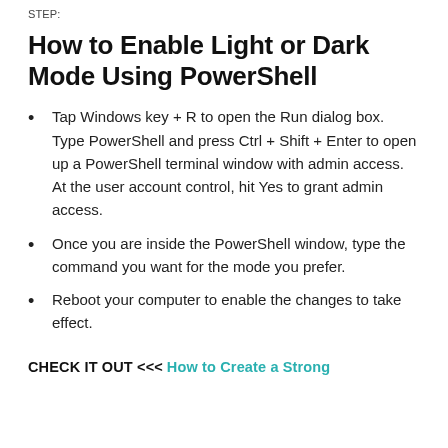STEP:
How to Enable Light or Dark Mode Using PowerShell
Tap Windows key + R to open the Run dialog box. Type PowerShell and press Ctrl + Shift + Enter to open up a PowerShell terminal window with admin access. At the user account control, hit Yes to grant admin access.
Once you are inside the PowerShell window, type the command you want for the mode you prefer.
Reboot your computer to enable the changes to take effect.
CHECK IT OUT <<< How to Create a Strong